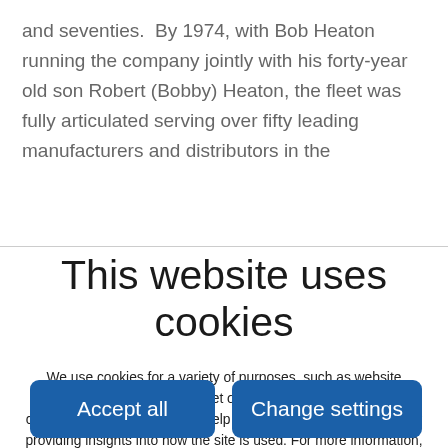and seventies.  By 1974, with Bob Heaton running the company jointly with his forty-year old son Robert (Bobby) Heaton, the fleet was fully articulated serving over fifty leading manufacturers and distributors in the
This website uses cookies
We use cookies for a variety of purposes, such as website functionality and helping target our marketing activities. Some cookies are essential, others help us improve your experience by providing insights into how the site is used. For more information, please visit our Cookie Notice.